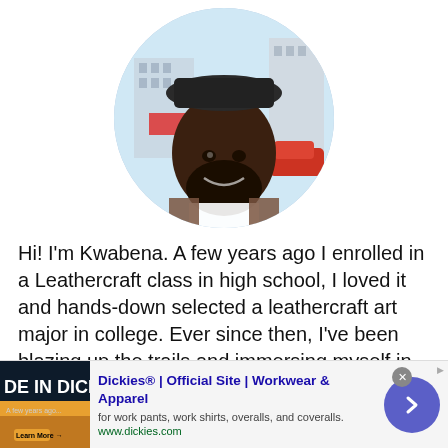[Figure (photo): Circular profile photo of a man named Kwabena wearing a hat and plaid jacket, smiling outdoors with buildings in background]
Hi! I'm Kwabena. A few years ago I enrolled in a Leathercraft class in high school, I loved it and hands-down selected a leathercraft art major in college. Ever since then, I've been blazing up the trails and immersing myself in this wonderful hobby turned career and on this website, I'm excited each day to
[Figure (screenshot): Advertisement banner for Dickies Official Site - Workwear & Apparel. Shows ad image on left, title 'Dickies® | Official Site | Workwear & Apparel', subtitle 'for work pants, work shirts, overalls, and coveralls.', URL 'www.dickies.com', close button and arrow button.]